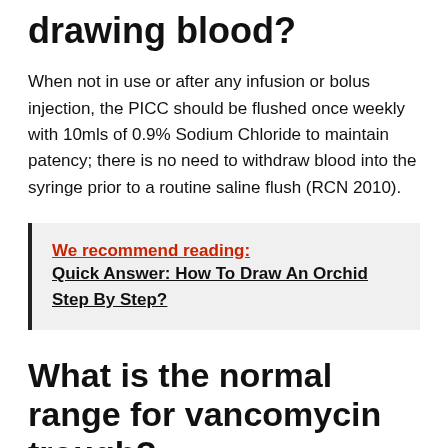drawing blood?
When not in use or after any infusion or bolus injection, the PICC should be flushed once weekly with 10mls of 0.9% Sodium Chloride to maintain patency; there is no need to withdraw blood into the syringe prior to a routine saline flush (RCN 2010).
We recommend reading:  Quick Answer: How To Draw An Orchid Step By Step?
What is the normal range for vancomycin trough?
The reference range for vancomycin trough levels is